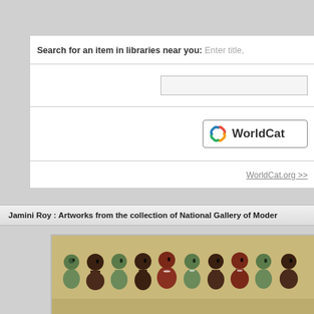Search for an item in libraries near you: Enter title,
[Figure (screenshot): WorldCat search input field]
[Figure (logo): WorldCat logo button]
WorldCat.org >>
Jamini Roy : Artworks from the collection of National Gallery of Modern
[Figure (photo): Jamini Roy painting showing stylized figures in traditional Indian folk art style with earthy colors - green, red, ochre tones]